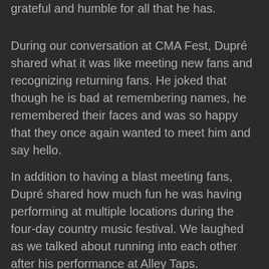grateful and humble for all that he has.
During our conversation at CMA Fest, Dupré shared what it was like meeting new fans and recognizing returning fans. He joked that though he is bad at remembering names, he remembered their faces and was so happy that they once again wanted to meet him and say hello.
In addition to having a blast meeting fans, Dupré shared how much fun he was having performing at multiple locations during the four-day country music festival. We laughed as we talked about running into each other after his performance at Alley Taps. Happiness